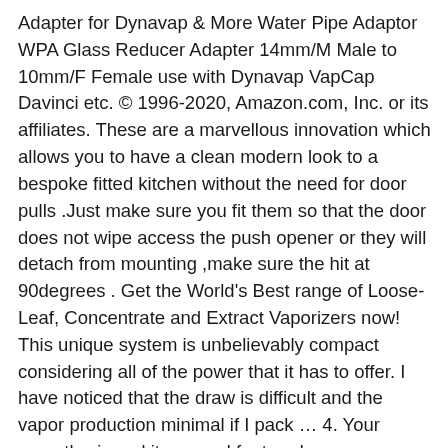Adapter for Dynavap & More Water Pipe Adaptor WPA Glass Reducer Adapter 14mm/M Male to 10mm/F Female use with Dynavap VapCap Davinci etc. © 1996-2020, Amazon.com, Inc. or its affiliates. These are a marvellous innovation which allows you to have a clean modern look to a bespoke fitted kitchen without the need for door pulls .Just make sure you fit them so that the door does not wipe access the push opener or they will detach from mounting ,make sure the hit at 90degrees . Get the World's Best range of Loose-Leaf, Concentrate and Extract Vaporizers now! This unique system is unbelievably compact considering all of the power that it has to offer. I have noticed that the draw is difficult and the vapor production minimal if I pack … 4. Your recently viewed items and featured recommendations, Select the department you want to search in, FREE Delivery on orders over £10 for books or over £20 for other categories shipped by Amazon, PAX 3 Premium Portable Vaporizer, Dry Herb, 10 Year Warranty, Basic Kit, Burgundy,